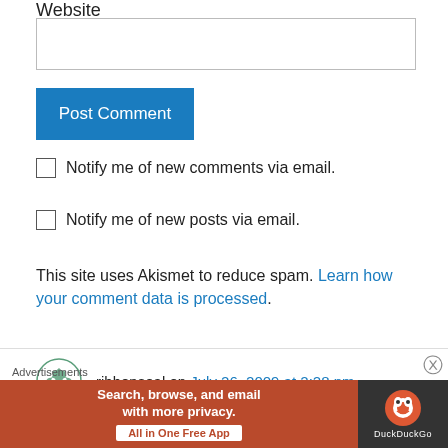Website
Post Comment
Notify me of new comments via email.
Notify me of new posts via email.
This site uses Akismet to reduce spam. Learn how your comment data is processed.
ribbonseal on July 26, 2009 at 2:28 pm
Advertisements
[Figure (screenshot): DuckDuckGo advertisement banner: 'Search, browse, and email with more privacy. All in One Free App' with DuckDuckGo logo on the right]